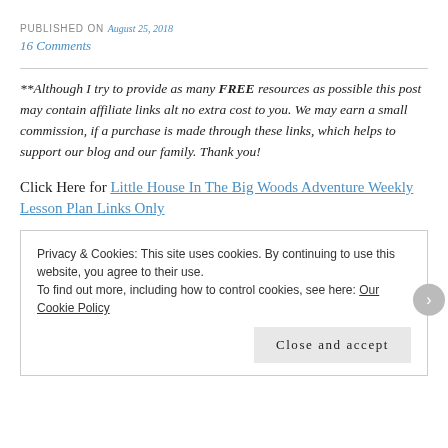PUBLISHED ON August 25, 2018
16 Comments
**Although I try to provide as many FREE resources as possible this post may contain affiliate links alt no extra cost to you. We may earn a small commission, if a purchase is made through these links, which helps to support our blog and our family. Thank you!
Click Here for Little House In The Big Woods Adventure Weekly Lesson Plan Links Only
Privacy & Cookies: This site uses cookies. By continuing to use this website, you agree to their use.
To find out more, including how to control cookies, see here: Our Cookie Policy
Close and accept